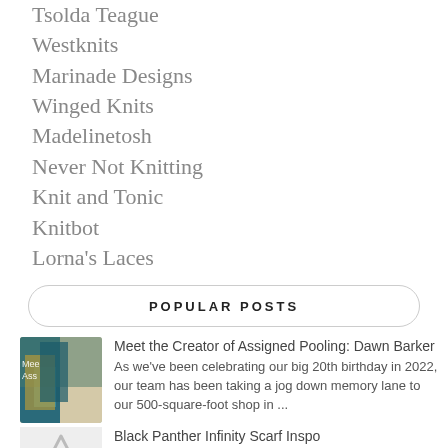Tsolda Teague
Westknits
Marinade Designs
Winged Knits
Madelinetosh
Never Not Knitting
Knit and Tonic
Knitbot
Lorna's Laces
POPULAR POSTS
Meet the Creator of Assigned Pooling: Dawn Barker
As we've been celebrating our big 20th birthday in 2022, our team has been taking a jog down memory lane to our 500-square-foot shop in ...
Black Panther Infinity Scarf Inspo
If you're like us, you probably always have your 'knit-radar' (knitdar?!) on. You can imagine the surprise of knitters acr...
Luck of the Irish: Keep From Getting Pinched This St...